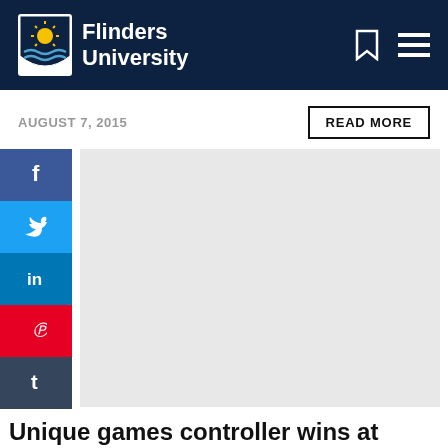Flinders University
AUGUST 7, 2015
READ MORE
[Figure (other): Social media share buttons: Facebook, Twitter, LinkedIn, Pinterest, Tumblr]
[Figure (photo): Article image placeholder (light grey rectangle)]
Unique games controller wins at Good Design Australia Award